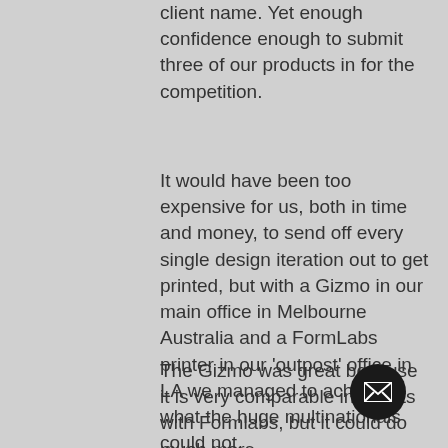client name. Yet enough confidence enough to submit three of our products in for the competition.
It would have been too expensive for us, both in time and money, to send off every single design iteration out to get printed, but with a Gizmo in our main office in Melbourne Australia and a FormLabs printer in our 'outpost' office in LA we managed to achieve what the huge multinationals could not.
The Gizmo was great because it is very comparable in results with Formlabs, but it could do much more because of that and beyond that...